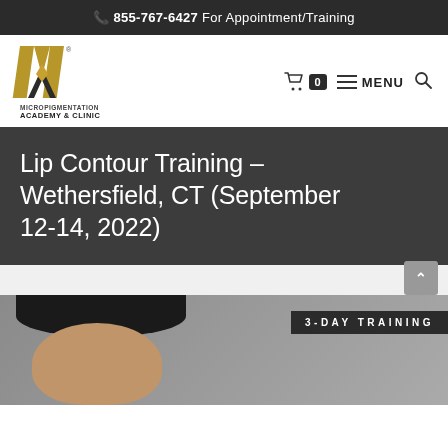📞 855-767-6427 For Appointment/Training
[Figure (logo): Micropigmentation Academy & Clinic logo — stylized gold M with arrow, text 'MICROPIGMENTATION ACADEMY & CLINIC' below]
Lip Contour Training – Wethersfield, CT (September 12-14, 2022)
[Figure (photo): Bottom portion of page showing a person's face/head with dark hair and a '3-DAY TRAINING' badge overlay on a dark banner]